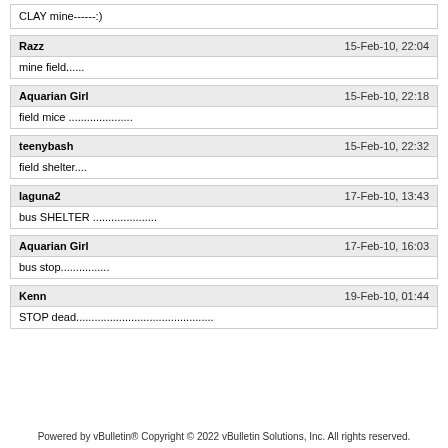CLAY mine------:)
Razz — 15-Feb-10, 22:04 — mine field......
Aquarian Girl — 15-Feb-10, 22:18 — field mice ...................
teenybash — 15-Feb-10, 22:32 — field shelter....
laguna2 — 17-Feb-10, 13:43 — bus SHELTER ...................
Aquarian Girl — 17-Feb-10, 16:03 — bus stop................
Kenn — 19-Feb-10, 01:44 — STOP dead...........................................
Powered by vBulletin® Copyright © 2022 vBulletin Solutions, Inc. All rights reserved.